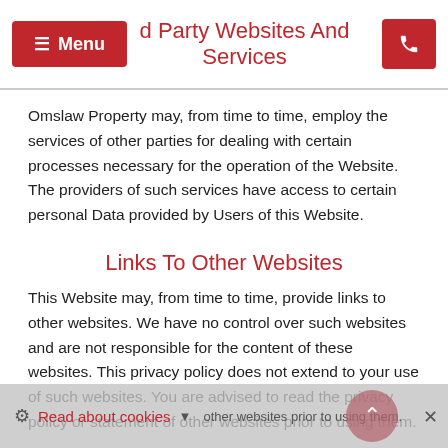Third Party Websites And Services
Omslaw Property may, from time to time, employ the services of other parties for dealing with certain processes necessary for the operation of the Website. The providers of such services have access to certain personal Data provided by Users of this Website.
Links To Other Websites
This Website may, from time to time, provide links to other websites. We have no control over such websites and are not responsible for the content of these websites. This privacy policy does not extend to your use of such websites. You are advised to read the privacy policy or statement of other websites prior to using them.
Read about cookies